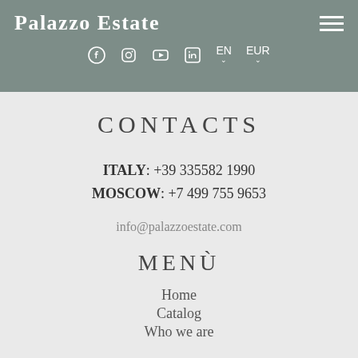Palazzo Estate
[Figure (screenshot): Social media icons: Facebook, Instagram, YouTube, LinkedIn, language selector EN, currency selector EUR]
CONTACTS
ITALY: +39 335582 1990
MOSCOW: +7 499 755 9653
info@palazzoestate.com
MENÙ
Home
Catalog
Who we are